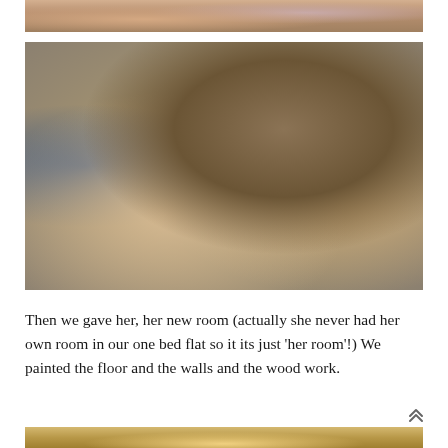[Figure (photo): Partial photo at top of page showing adult with red/floral clothing, cropped to just the lower portion]
[Figure (photo): Baby/toddler with dark curly hair sitting in a wooden high chair, holding an orange toy (appears to be a wooden plane/tool). An adult hand holding a phone is visible on the right. Warm indoor setting with wooden furniture.]
Then we gave her, her new room (actually she never had her own room in our one bed flat so it its just 'her room'!) We painted the floor and the walls and the wood work.
[Figure (photo): Bottom edge of another photo visible, showing warm golden tones]